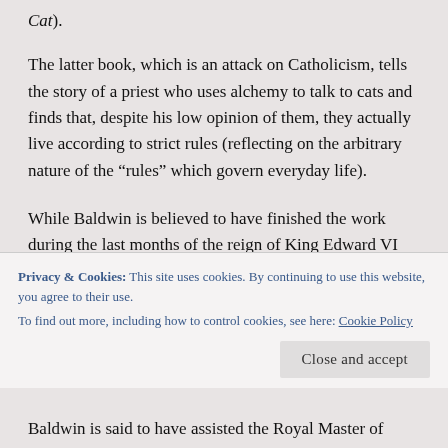Cat).
The latter book, which is an attack on Catholicism, tells the story of a priest who uses alchemy to talk to cats and finds that, despite his low opinion of them, they actually live according to strict rules (reflecting on the arbitrary nature of the “rules” which govern everyday life).
While Baldwin is believed to have finished the work during the last months of the reign of King Edward VI (he died on 6th July, 1553), the subsequent accession of Queen Mary I and her tougher line on the press…
Privacy & Cookies: This site uses cookies. By continuing to use this website, you agree to their use.
To find out more, including how to control cookies, see here: Cookie Policy
Close and accept
Baldwin is said to have assisted the Royal Master of